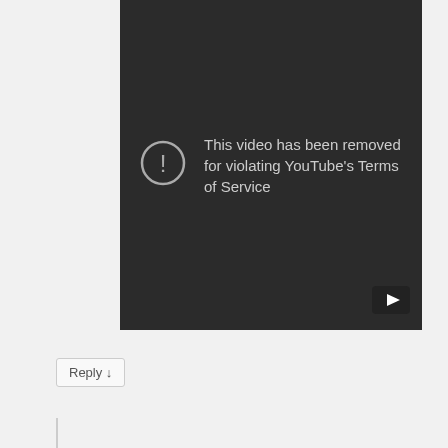[Figure (screenshot): YouTube video embed showing error message: 'This video has been removed for violating YouTube's Terms of Service', with a YouTube play button logo in the bottom right corner.]
Reply ↓